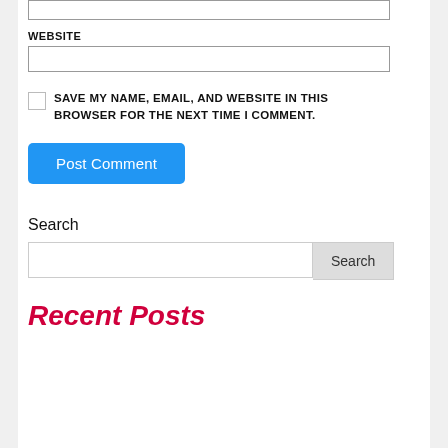WEBSITE
SAVE MY NAME, EMAIL, AND WEBSITE IN THIS BROWSER FOR THE NEXT TIME I COMMENT.
Post Comment
Search
Search
Recent Posts